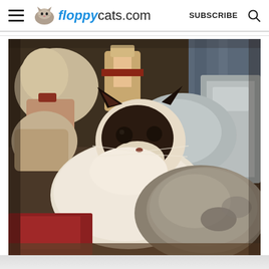floppycats.com  SUBSCRIBE
[Figure (photo): A Ragdoll or Birman cat with dark brown/black face mask and paws, white/cream body fur, lying among stuffed animals, blankets, and a gray towel on what appears to be a couch or chair. A second cat's fluffy gray-brown back is visible in the foreground. Various decorative items visible in the background.]